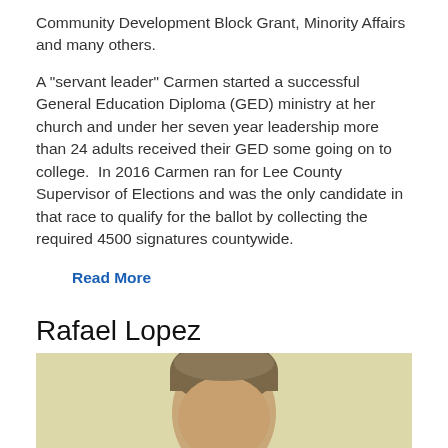Community Development Block Grant, Minority Affairs and many others.
A "servant leader" Carmen started a successful General Education Diploma (GED) ministry at her church and under her seven year leadership more than 24 adults received their GED some going on to college.  In 2016 Carmen ran for Lee County Supervisor of Elections and was the only candidate in that race to qualify for the ballot by collecting the required 4500 signatures countywide.
Read More
Rafael Lopez
[Figure (photo): Portrait photo of Rafael Lopez, showing a man with short hair against a light yellow/cream background, cropped at the bottom of the page]